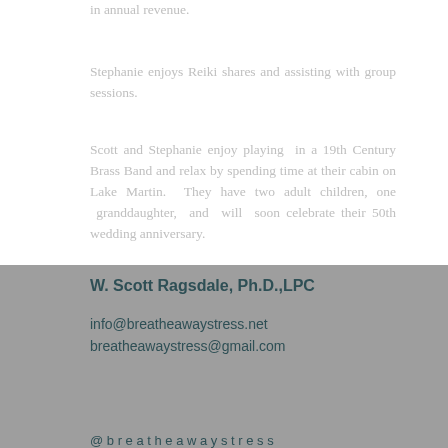in annual revenue.
Stephanie enjoys Reiki shares and assisting with group sessions.
Scott and Stephanie enjoy playing in a 19th Century Brass Band and relax by spending time at their cabin on Lake Martin. They have two adult children, one granddaughter, and will soon celebrate their 50th wedding anniversary.
W. Scott Ragsdale, Ph.D.,LPC
info@breatheawaystress.net
breatheawaystress@gmail.com